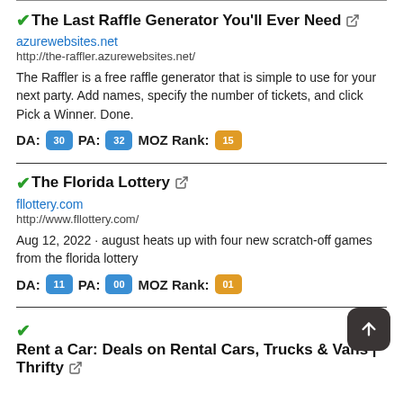✔The Last Raffle Generator You'll Ever Need 🔗
azurewebsites.net
http://the-raffler.azurewebsites.net/
The Raffler is a free raffle generator that is simple to use for your next party. Add names, specify the number of tickets, and click Pick a Winner. Done.
DA: 30  PA: 32  MOZ Rank: 15
✔The Florida Lottery 🔗
fllottery.com
http://www.fllottery.com/
Aug 12, 2022 · august heats up with four new scratch-off games from the florida lottery
DA: 11  PA: 00  MOZ Rank: 01
✔Rent a Car: Deals on Rental Cars, Trucks & Vans | Thrifty 🔗